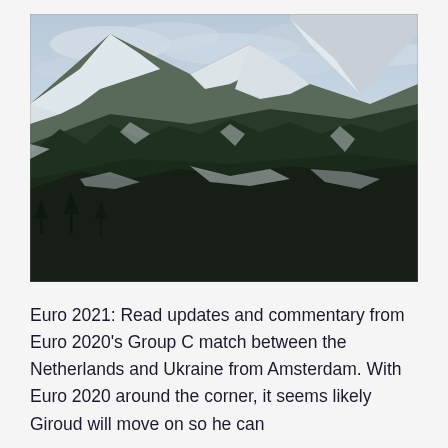[Figure (photo): Snow-covered mountain peak with dark evergreen trees on the slopes, cloudy sky in the background. Dramatic alpine winter landscape.]
Euro 2021: Read updates and commentary from Euro 2020's Group C match between the Netherlands and Ukraine from Amsterdam. With Euro 2020 around the corner, it seems likely Giroud will move on so he can